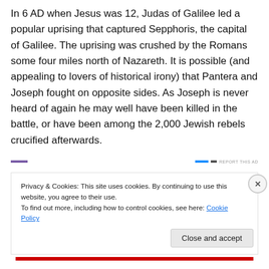In 6 AD when Jesus was 12, Judas of Galilee led a popular uprising that captured Sepphoris, the capital of Galilee. The uprising was crushed by the Romans some four miles north of Nazareth. It is possible (and appealing to lovers of historical irony) that Pantera and Joseph fought on opposite sides. As Joseph is never heard of again he may well have been killed in the battle, or have been among the 2,000 Jewish rebels crucified afterwards.
Privacy & Cookies: This site uses cookies. By continuing to use this website, you agree to their use.
To find out more, including how to control cookies, see here: Cookie Policy
Close and accept